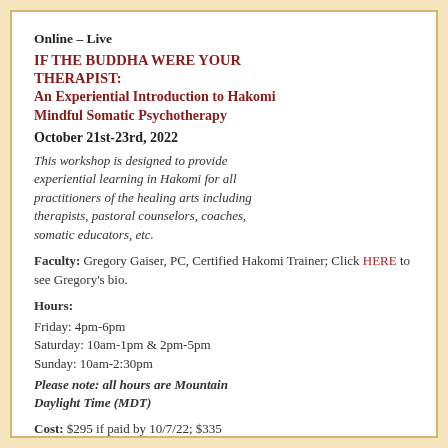Online – Live
IF THE BUDDHA WERE YOUR THERAPIST: An Experiential Introduction to Hakomi Mindful Somatic Psychotherapy
October 21st-23rd, 2022
This workshop is designed to provide experiential learning in Hakomi for all practitioners of the healing arts including therapists, pastoral counselors, coaches, somatic educators, etc.
Faculty: Gregory Gaiser, PC, Certified Hakomi Trainer; Click HERE to see Gregory's bio.
Hours:
Friday: 4pm-6pm
Saturday: 10am-1pm & 2pm-5pm
Sunday: 10am-2:30pm
Please note: all hours are Mountain Daylight Time (MDT)
Cost: $295 if paid by 10/7/22; $335